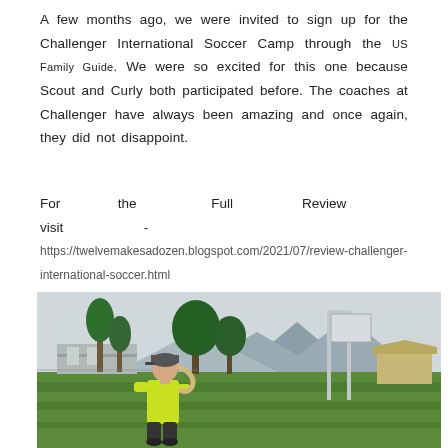A few months ago, we were invited to sign up for the Challenger International Soccer Camp through the US Family Guide. We were so excited for this one because Scout and Curly both participated before. The coaches at Challenger have always been amazing and once again, they did not disappoint.
For the Full Review visit - https://twelvemakesadozen.blogspot.com/2021/07/review-challenger-international-soccer.html
[Figure (photo): Outdoor soccer field with a girl in a yellow-green long sleeve shirt and grey cap with a ponytail, standing on green grass. Trees and mountains visible in background, along with metal goal posts and a building.]